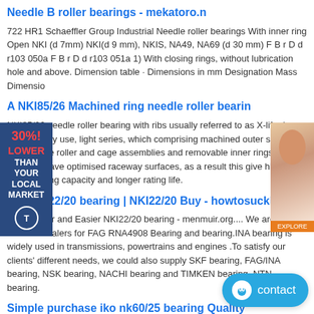Needle B roller bearings - mekatoro.n
722 HR1 Schaeffler Group Industrial Needle roller bearings With inner ring Open NKI (d 7mm) NKI(d 9 mm), NKIS, NA49, NA69 (d 30 mm) F B r D d r103 050a F B r D d r103 051a 1) With closing rings, without lubrication hole and above. Dimension table · Dimensions in mm Designation Mass Dimensio
A NKI85/26 Machined ring needle roller bearin
NKI85/26 needle roller bearing with ribs usually referred to as X-life rings for generally use, light series, which comprising machined outer s with ribs, needle roller and cage assemblies and removable inner rings. se bearings have optimised raceway surfaces, as a result this give higher load carrying capacity and longer rating life.
INA NKI22/20 bearing | NKI22/20 Buy - howtosuckless.n
Trade Safer and Easier NKI22/20 bearing - menmuir.org.... We are one of the best dealers for FAG RNA4908 Bearing and bearing.INA bearing is widely used in transmissions, powertrains and engines .To satisfy our clients' different needs, we could also supply SKF bearing, FAG/INA bearing, NSK bearing, NACHI bearing and TIMKEN bearing, NTN bearing.
Simple purchase iko nk60/25 bearing Quality
Our quality iko nk60/25 bearing is top in the world. We h now. Delivery time: 5-7days. The installation unit must be issued by the